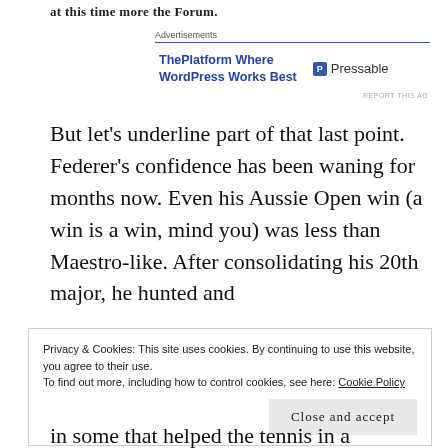at this time more the Forum.
[Figure (other): Advertisement banner: 'ThePlatform Where WordPress Works Best' with Pressable logo]
But let's underline part of that last point. Federer's confidence has been waning for months now. Even his Aussie Open win (a win is a win, mind you) was less than Maestro-like. After consolidating his 20th major, he hunted and
Privacy & Cookies: This site uses cookies. By continuing to use this website, you agree to their use.
To find out more, including how to control cookies, see here: Cookie Policy
Close and accept
in some that helped the tennis in a sinuation